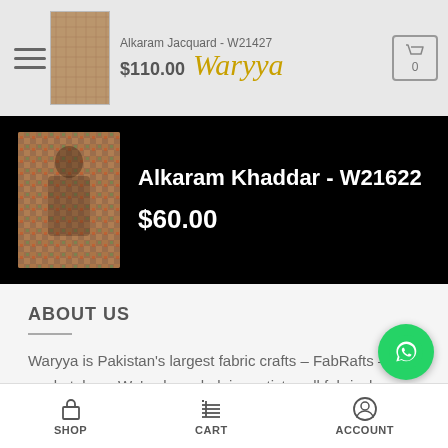Alkaram Jacquard - W21427 | $110.00 | Waryya
[Figure (screenshot): Product listing card for Alkaram Khaddar - W21622, $60.00, shown on black background with fabric image thumbnail]
ABOUT US
Waryya is Pakistan's largest fabric crafts – FabRafts – marketplace. We've been helping artists sell fabric, home decor, jewelry, apparel, and other products.
SHOP  CART  ACCOUNT